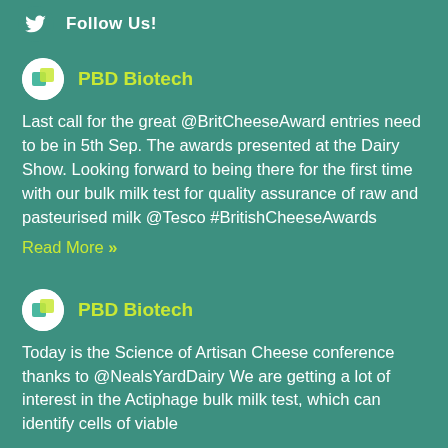Follow Us!
PBD Biotech
Last call for the great @BritCheeseAward entries need to be in 5th Sep. The awards presented at the Dairy Show. Looking forward to being there for the first time with our bulk milk test for quality assurance of raw and pasteurised milk @Tesco #BritishCheeseAwards
Read More »
PBD Biotech
Today is the Science of Artisan Cheese conference thanks to @NealsYardDairy We are getting a lot of interest in the Actiphage bulk milk test, which can identify cells of viable mycobacterium and bovine acidic quality